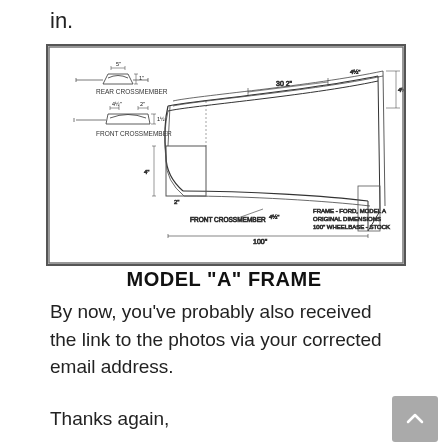in.
[Figure (engineering-diagram): Engineering drawing of a Ford Model A frame showing isometric view with labeled dimensions, including rear crossmember and front crossmember details. Labels include 'REAR CROSSMEMBER', 'FRONT CROSSMEMBER', 'FRONT CROSSMEMBER', and 'FRAME - FORD, MODEL A, ORIGINAL DIMENSIONS, 100" WHEELBASE - STOCK'. Dimension lines show measurements including 30 2", 4½", 4½", 2", 100".]
MODEL "A" FRAME
By now, you've probably also received the link to the photos via your corrected email address.
Thanks again,